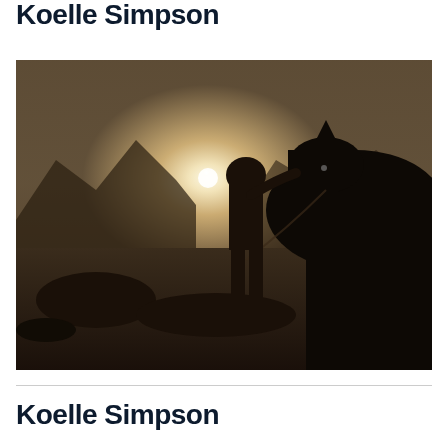Koelle Simpson
[Figure (photo): Black and white / sepia-toned photograph of a person standing close to a horse in silhouette, touching foreheads, with mountains and bright sunlight in the background.]
Koelle Simpson